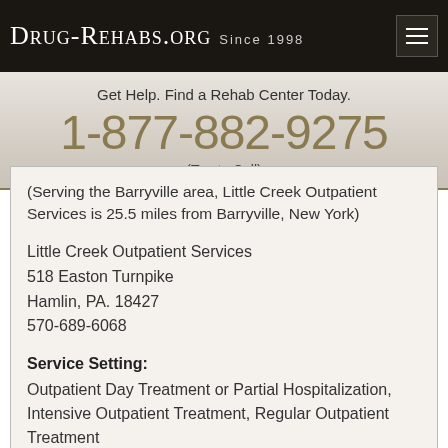Drug-Rehabs.org Since 1998
Get Help. Find a Rehab Center Today.
1-877-882-9275
(Tap to Call)
(Serving the Barryville area, Little Creek Outpatient Services is 25.5 miles from Barryville, New York)
Little Creek Outpatient Services
518 Easton Turnpike
Hamlin, PA. 18427
570-689-6068
Service Setting:
Outpatient Day Treatment or Partial Hospitalization, Intensive Outpatient Treatment, Regular Outpatient Treatment
Treatment Approaches: